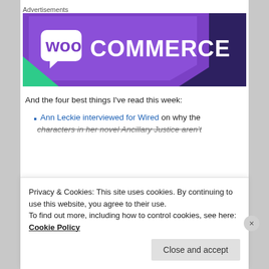Advertisements
[Figure (illustration): WooCommerce advertisement banner with purple/dark navy background and white WooCommerce logo with speech bubble 'Woo' icon and teal triangle accent in bottom-left corner]
And the four best things I've read this week:
Ann Leckie interviewed for Wired on why the characters in her novel Ancillary Justice aren't…
Privacy & Cookies: This site uses cookies. By continuing to use this website, you agree to their use.
To find out more, including how to control cookies, see here: Cookie Policy
Close and accept